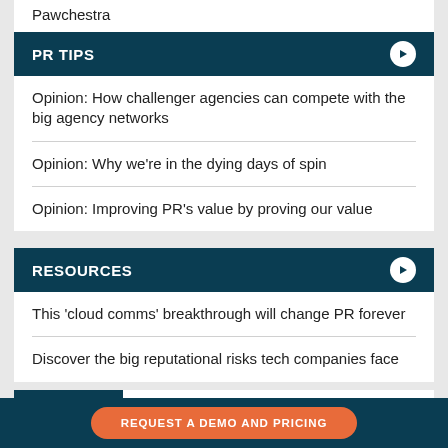Pawchestra
PR TIPS
Opinion: How challenger agencies can compete with the big agency networks
Opinion: Why we're in the dying days of spin
Opinion: Improving PR's value by proving our value
RESOURCES
This 'cloud comms' breakthrough will change PR forever
Discover the big reputational risks tech companies face
on Insights uncovers 3 reputational risks
REQUEST A DEMO AND PRICING